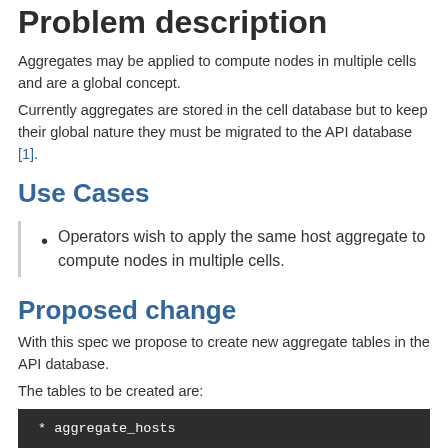Problem description
Aggregates may be applied to compute nodes in multiple cells and are a global concept.
Currently aggregates are stored in the cell database but to keep their global nature they must be migrated to the API database [1].
Use Cases
Operators wish to apply the same host aggregate to compute nodes in multiple cells.
Proposed change
With this spec we propose to create new aggregate tables in the API database.
The tables to be created are:
[Figure (screenshot): Dark code block showing '* aggregate_hosts' in monospace font on a dark background]